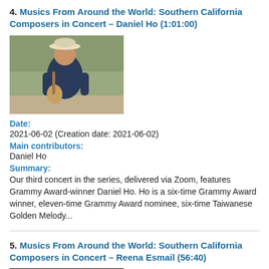4. Musics From Around the World: Southern California Composers in Concert – Daniel Ho (1:01:00)
[Figure (photo): Man wearing a hat playing a ukulele outdoors with trees in background]
Date:
2021-06-02 (Creation date: 2021-06-02)
Main contributors:
Daniel Ho
Summary:
Our third concert in the series, delivered via Zoom, features Grammy Award-winner Daniel Ho. Ho is a six-time Grammy Award winner, eleven-time Grammy Award nominee, six-time Taiwanese Golden Melody...
5. Musics From Around the World: Southern California Composers in Concert – Reena Esmail (56:40)
[Figure (photo): Woman sitting in front of bookshelves, video call screenshot with black borders]